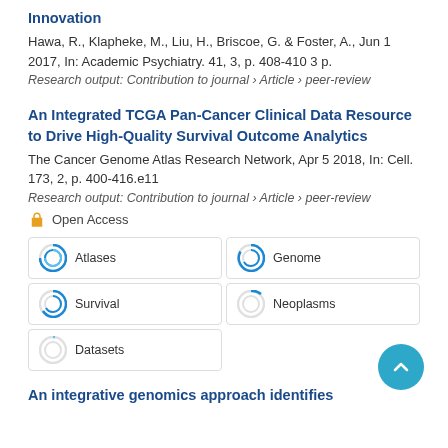Innovation
Hawa, R., Klapheke, M., Liu, H., Briscoe, G. & Foster, A., Jun 1 2017, In: Academic Psychiatry. 41, 3, p. 408-410 3 p.
Research output: Contribution to journal › Article › peer-review
An Integrated TCGA Pan-Cancer Clinical Data Resource to Drive High-Quality Survival Outcome Analytics
The Cancer Genome Atlas Research Network, Apr 5 2018, In: Cell. 173, 2, p. 400-416.e11
Research output: Contribution to journal › Article › peer-review
Open Access
Atlases
Genome
Survival
Neoplasms
Datasets
An integrative genomics approach identifies